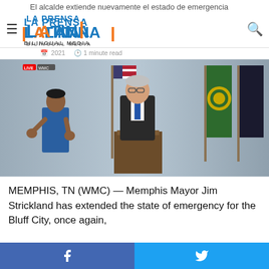El alcalde extiende nuevamente el estado de emergencia
[Figure (logo): La Prensa Latina Bilingual Media logo]
1 minute read
[Figure (photo): Memphis Mayor Jim Strickland speaking at a podium with US and city flags behind him, and a sign language interpreter to his left]
MEMPHIS, TN (WMC) — Memphis Mayor Jim Strickland has extended the state of emergency for the Bluff City, once again,
Facebook share | Twitter share